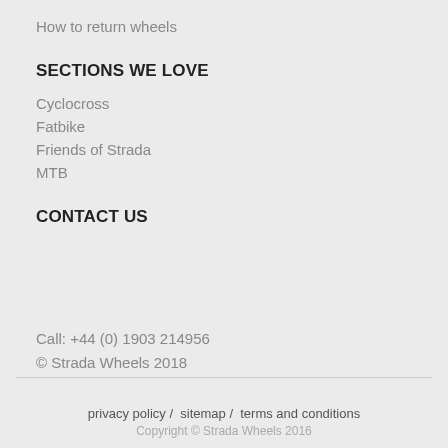How to return wheels
SECTIONS WE LOVE
Cyclocross
Fatbike
Friends of Strada
MTB
CONTACT US
Call: +44 (0) 1903 214956
© Strada Wheels 2018
privacy policy /  sitemap /  terms and conditions
Copyright © Strada Wheels 2016